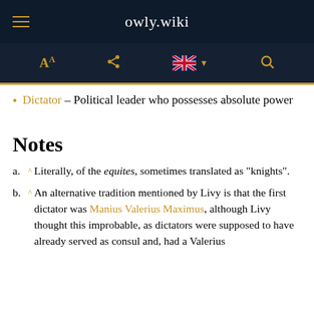owly.wiki
Dictator – Political leader who possesses absolute power
Notes
a. ^ Literally, of the equites, sometimes translated as "knights".
b. ^ An alternative tradition mentioned by Livy is that the first dictator was Manius Valerius Maximus, although Livy thought this improbable, as dictators were supposed to have already served as consul and, had a Valerius